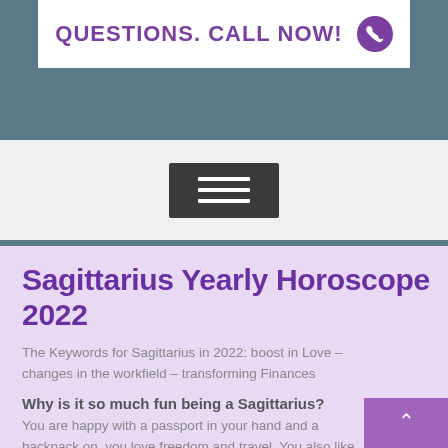[Figure (screenshot): Top banner with white box containing bold purple text 'QUESTIONS. CALL NOW!' with a purple phone icon, set against a muted blue-green coastal background image]
[Figure (screenshot): Navigation hamburger menu button (dark grey rectangle with three white horizontal lines) centered on light grey background]
Sagittarius Yearly Horoscope 2022
The Keywords for Sagittarius in 2022: boost in Love – changes in the workfield – transforming Finances
Why is it so much fun being a Sagittarius?
You are happy with a passport in your hand and a backpack on, you love freedom and travel. You also like parties, you are a social animal. You are a natur…